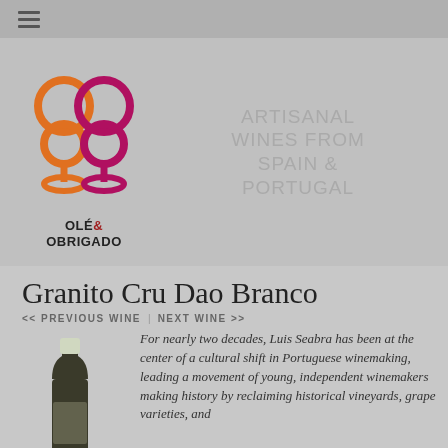≡ (hamburger menu)
[Figure (logo): Olé & Obrigado logo — two wine glasses depicted with overlapping circles in orange and magenta/red colors, with text OLÉ & OBRIGADO below]
ARTISANAL WINES FROM SPAIN & PORTUGAL
Granito Cru Dao Branco
<< PREVIOUS WINE   NEXT WINE >>
[Figure (photo): Bottle of Granito Cru Dao Branco wine, white/cream capsule, dark bottle]
For nearly two decades, Luis Seabra has been at the center of a cultural shift in Portuguese winemaking, leading a movement of young, independent winemakers making history by reclaiming historical vineyards, grape varieties, and